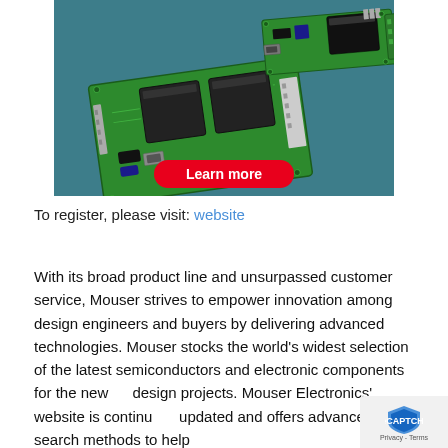[Figure (photo): Advertisement image showing two green PCB relay boards on a teal background, with a red 'Learn more' button at the bottom center]
To register, please visit: website
With its broad product line and unsurpassed customer service, Mouser strives to empower innovation among design engineers and buyers by delivering advanced technologies. Mouser stocks the world's widest selection of the latest semiconductors and electronic components for the newest design projects. Mouser Electronics' website is continually updated and offers advanced search methods to help